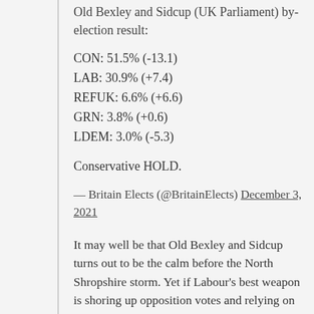Old Bexley and Sidcup (UK Parliament) by-election result:
CON: 51.5% (-13.1)
LAB: 30.9% (+7.4)
REFUK: 6.6% (+6.6)
GRN: 3.8% (+0.6)
LDEM: 3.0% (-5.3)
Conservative HOLD.
— Britain Elects (@BritainElects) December 3, 2021
It may well be that Old Bexley and Sidcup turns out to be the calm before the North Shropshire storm. Yet if Labour's best weapon is shoring up opposition votes and relying on other parties to inflict real damage to the government, it suggests some key problems for Keir Starmer.
The first is that — in the context of a general election — any strategy dependent on increasing